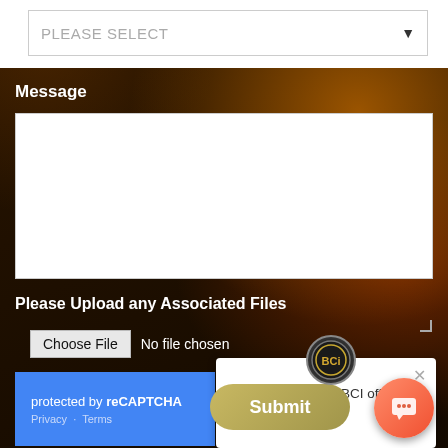[Figure (screenshot): Dropdown select box with placeholder text 'PLEASE SELECT' and dropdown arrow, white background at top of page]
Message
[Figure (screenshot): White textarea input box for entering a message]
Please Upload any Associated Files
[Figure (screenshot): File upload row with 'Choose File' button and 'No file chosen' text]
[Figure (screenshot): Blue reCAPTCHA badge showing 'protected by reCAPTCHA' with Privacy and Terms links]
[Figure (screenshot): BCI chat popup with circular logo, close button, and text 'What solution can BCI offer you?']
[Figure (screenshot): Gold/tan Submit button and orange chat bubble button at bottom right]